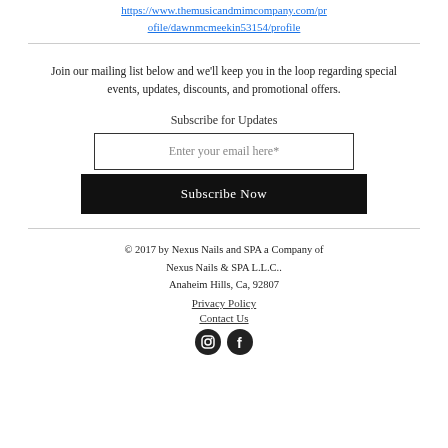https://www.themusicandmimcompany.com/profile/dawnmcmeekin53154/profile
Join our mailing list below and we'll keep you in the loop regarding special events, updates, discounts, and promotional offers.
Subscribe for Updates
Enter your email here*
Subscribe Now
© 2017 by Nexus Nails and SPA a Company of Nexus Nails & SPA L.L.C.. Anaheim Hills, Ca, 92807
Privacy Policy
Contact Us
[Figure (other): Instagram and Facebook social media icons]